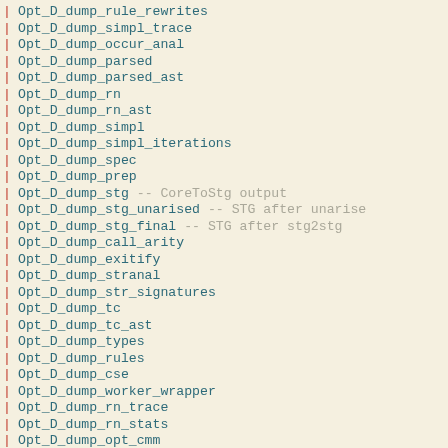| Opt_D_dump_rule_rewrites
| Opt_D_dump_simpl_trace
| Opt_D_dump_occur_anal
| Opt_D_dump_parsed
| Opt_D_dump_parsed_ast
| Opt_D_dump_rn
| Opt_D_dump_rn_ast
| Opt_D_dump_simpl
| Opt_D_dump_simpl_iterations
| Opt_D_dump_spec
| Opt_D_dump_prep
| Opt_D_dump_stg -- CoreToStg output
| Opt_D_dump_stg_unarised -- STG after unarise
| Opt_D_dump_stg_final -- STG after stg2stg
| Opt_D_dump_call_arity
| Opt_D_dump_exitify
| Opt_D_dump_stranal
| Opt_D_dump_str_signatures
| Opt_D_dump_tc
| Opt_D_dump_tc_ast
| Opt_D_dump_types
| Opt_D_dump_rules
| Opt_D_dump_cse
| Opt_D_dump_worker_wrapper
| Opt_D_dump_rn_trace
| Opt_D_dump_rn_stats
| Opt_D_dump_opt_cmm
| Opt_D_dump_simpl_stats
| Opt_D_dump_cs_trace -- Constraint solver in type che
| Opt_D_dump_tc_trace